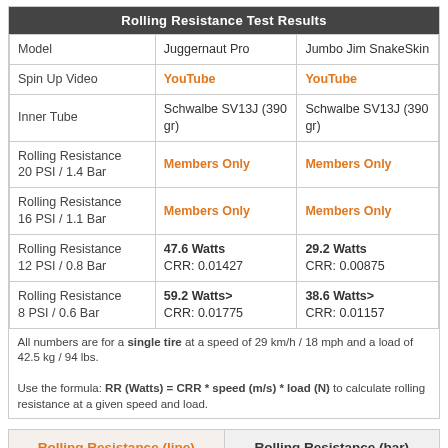| Model | Juggernaut Pro | Jumbo Jim SnakeSkin |
| --- | --- | --- |
| Spin Up Video | YouTube | YouTube |
| Inner Tube | Schwalbe SV13J (390 gr) | Schwalbe SV13J (390 gr) |
| Rolling Resistance 20 PSI / 1.4 Bar | Members Only | Members Only |
| Rolling Resistance 16 PSI / 1.1 Bar | Members Only | Members Only |
| Rolling Resistance 12 PSI / 0.8 Bar | 47.6 Watts CRR: 0.01427 | 29.2 Watts CRR: 0.00875 |
| Rolling Resistance 8 PSI / 0.6 Bar | 59.2 Watts> CRR: 0.01775 | 38.6 Watts> CRR: 0.01157 |
All numbers are for a single tire at a speed of 29 km/h / 18 mph and a load of 42.5 kg / 94 lbs.

Use the formula: RR (Watts) = CRR * speed (m/s) * load (N) to calculate rolling resistance at a given speed and load.
Rolling Resistance (line)
Rolling Resistance (bar)